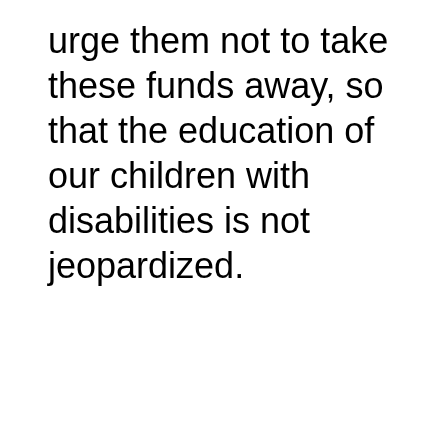urge them not to take these funds away, so that the education of our children with disabilities is not jeopardized.